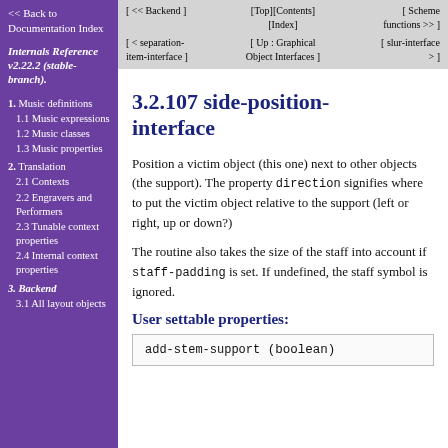<< Back to Documentation Index
Internals Reference v2.22.2 (stable-branch).
1. Music definitions
1.1 Music expressions
1.2 Music classes
1.3 Music properties
2. Translation
2.1 Contexts
2.2 Engravers and Performers
2.3 Tunable context properties
2.4 Internal context properties
3. Backend
3.1 All layout objects
[ << Backend ]   [Top][Contents][Index]   [ Scheme functions >> ]
[ < separation-item-interface ]   [ Up : Graphical Object Interfaces ]   [ slur-interface > ]
3.2.107 side-position-interface
Position a victim object (this one) next to other objects (the support). The property direction signifies where to put the victim object relative to the support (left or right, up or down?)
The routine also takes the size of the staff into account if staff-padding is set. If undefined, the staff symbol is ignored.
User settable properties:
add-stem-support (boolean)